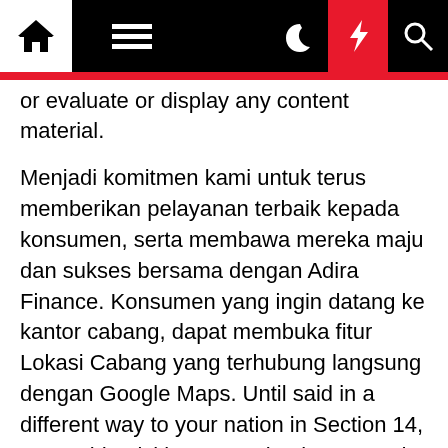[Navigation bar with home, menu, dark mode, lightning, search icons]
or evaluate or display any content material.
Menjadi komitmen kami untuk terus memberikan pelayanan terbaik kepada konsumen, serta membawa mereka maju dan sukses bersama dengan Adira Finance. Konsumen yang ingin datang ke kantor cabang, dapat membuka fitur Lokasi Cabang yang terhubung langsung dengan Google Maps. Until said in a different way to your nation in Section 14, we could quickly or completely suspend or terminate your account or impose limits on or prohibit your access to parts or all the Companies at any time, without notice and for any motive, including, but not restricted to, violation of these Terms, court docket order, or inactivity.
The proprietor might operate alone or might employ others, however retains all the revenue and total and